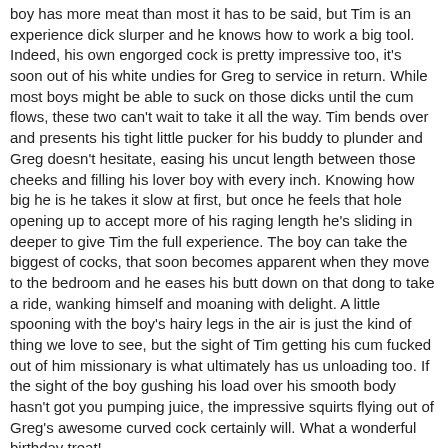boy has more meat than most it has to be said, but Tim is an experience dick slurper and he knows how to work a big tool. Indeed, his own engorged cock is pretty impressive too, it's soon out of his white undies for Greg to service in return. While most boys might be able to suck on those dicks until the cum flows, these two can't wait to take it all the way. Tim bends over and presents his tight little pucker for his buddy to plunder and Greg doesn't hesitate, easing his uncut length between those cheeks and filling his lover boy with every inch. Knowing how big he is he takes it slow at first, but once he feels that hole opening up to accept more of his raging length he's sliding in deeper to give Tim the full experience. The boy can take the biggest of cocks, that soon becomes apparent when they move to the bedroom and he eases his butt down on that dong to take a ride, wanking himself and moaning with delight. A little spooning with the boy's hairy legs in the air is just the kind of thing we love to see, but the sight of Tim getting his cum fucked out of him missionary is what ultimately has us unloading too. If the sight of the boy gushing his load over his smooth body hasn't got you pumping juice, the impressive squirts flying out of Greg's awesome curved cock certainly will. What a wonderful birthday treat!
Format: mp4
Duration: 31:08
Video: 1920x1080, AVC (H.264), 7967kbps